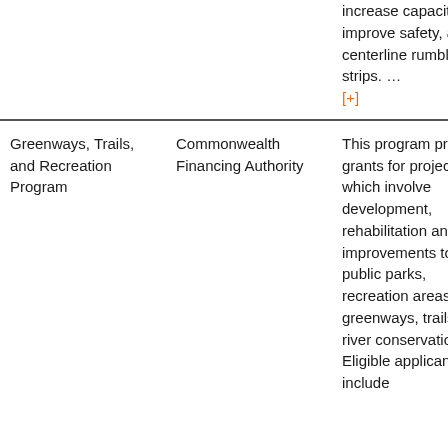|  |  | increase capacity or improve safety, and centerline rumble strips. … [+] |
| Greenways, Trails, and Recreation Program | Commonwealth Financing Authority | This program provides grants for projects which involve development, rehabilitation and improvements to public parks, recreation areas, greenways, trails, and river conservation. Eligible applicants include |